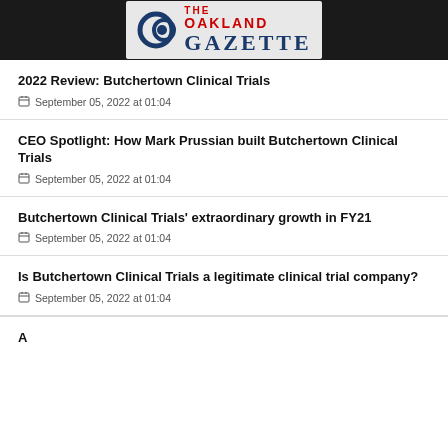[Figure (logo): The Oakland Gazette newspaper logo with circular blue emblem on dark header bar]
2022 Review: Butchertown Clinical Trials
September 05, 2022 at 01:04
CEO Spotlight: How Mark Prussian built Butchertown Clinical Trials
September 05, 2022 at 01:04
Butchertown Clinical Trials' extraordinary growth in FY21
September 05, 2022 at 01:04
Is Butchertown Clinical Trials a legitimate clinical trial company?
September 05, 2022 at 01:04
A